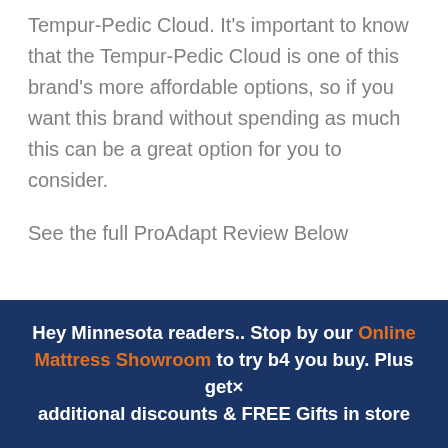Tempur-Pedic Cloud. It's important to know that the Tempur-Pedic Cloud is one of this brand's more affordable options, so if you want this brand without spending as much this can be a great option for you to consider.
See the full ProAdapt Review Below
Hey Minnesota readers.. Stop by our Online Mattress Showroom to try b4 you buy. Plus get× additional discounts & FREE Gifts in store